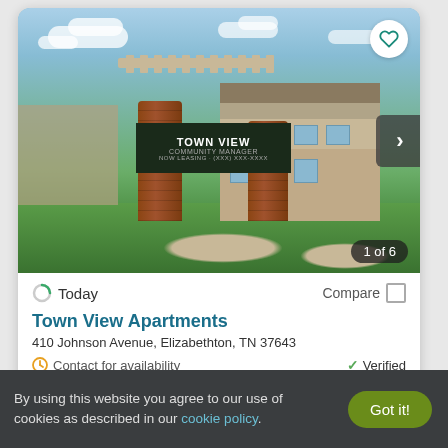[Figure (photo): Exterior photo of Town View Apartments showing brick entrance sign with pergola, green lawn with decorative rock landscaping, and apartment building in background under blue sky with clouds. Image carousel showing 1 of 6.]
Today
Compare
Town View Apartments
410 Johnson Avenue, Elizabethton, TN 37643
Contact for availability
Verified
By using this website you agree to our use of cookies as described in our cookie policy.